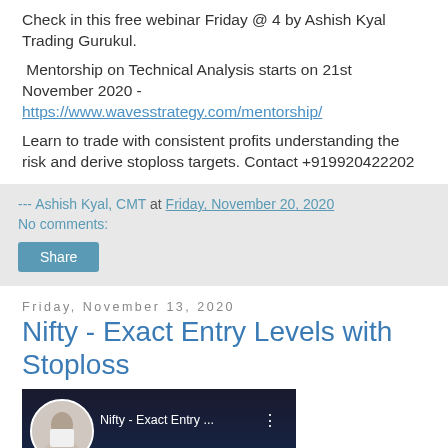Check in this free webinar Friday @ 4 by Ashish Kyal Trading Gurukul.
Mentorship on Technical Analysis starts on 21st November 2020 - https://www.wavesstrategy.com/mentorship/
Learn to trade with consistent profits understanding the risk and derive stoploss targets. Contact +919920422202
--- Ashish Kyal, CMT at Friday, November 20, 2020
No comments:
Share
Friday, November 13, 2020
Nifty - Exact Entry Levels with Stoploss
[Figure (screenshot): YouTube video thumbnail showing a man in a white shirt with title 'Nifty - Exact Entry ...' and chart content visible at the bottom]